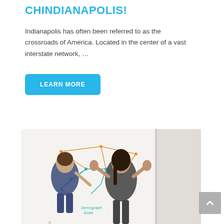CHINDIANAPOLIS!
Indianapolis has often been referred to as the crossroads of America. Located in the center of a vast interstate network, …
LEARN MORE
[Figure (photo): Two women standing in front of a whiteboard with a network diagram drawn on it. The woman on the left is in a navy dress writing on the board; the woman on the right is in a dark dress with hands raised, smiling.]